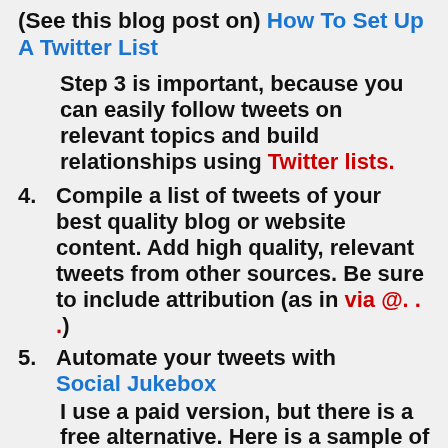(See this blog post on) How To Set Up A Twitter List
Step 3 is important, because you can easily follow tweets on relevant topics and build relationships using Twitter lists.
4. Compile a list of tweets of your best quality blog or website content. Add high quality, relevant tweets from other sources. Be sure to include attribution (as in via @. . .)
5. Automate your tweets with Social Jukebox
I use a paid version, but there is a free alternative. Here is a sample of tweets I have ready